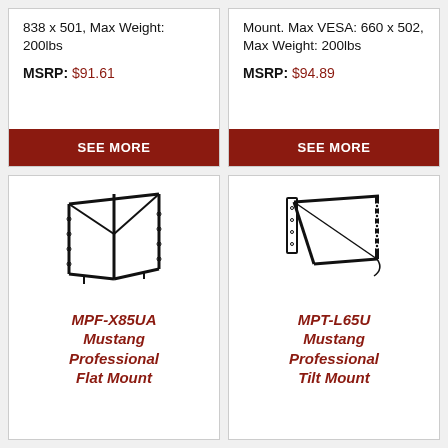838 x 501, Max Weight: 200lbs
MSRP: $91.61
SEE MORE
Mount. Max VESA: 660 x 502, Max Weight: 200lbs
MSRP: $94.89
SEE MORE
[Figure (photo): Mustang Professional Flat Mount bracket product photo]
MPF-X85UA Mustang Professional Flat Mount
[Figure (photo): Mustang Professional Tilt Mount bracket product photo]
MPT-L65U Mustang Professional Tilt Mount